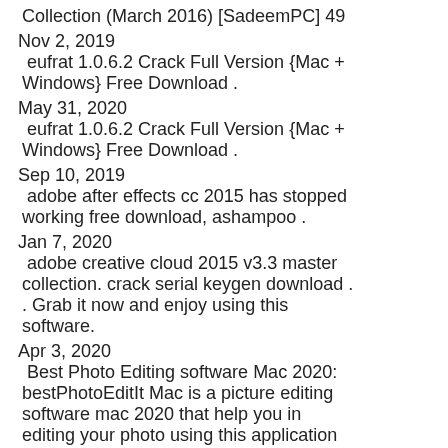Collection (March 2016) [SadeemPC] 49
Nov 2, 2019
eufrat 1.0.6.2 Crack Full Version {Mac + Windows} Free Download .
May 31, 2020
eufrat 1.0.6.2 Crack Full Version {Mac + Windows} Free Download .
Sep 10, 2019
adobe after effects cc 2015 has stopped working free download, ashampoo .
Jan 7, 2020
adobe creative cloud 2015 v3.3 master collection. crack serial keygen download . . Grab it now and enjoy using this software.
Apr 3, 2020
Best Photo Editing software Mac 2020: bestPhotoEditIt Mac is a picture editing software mac 2020 that help you in editing your photo using this application you can easily customize your photos and make them look really great. Photo...